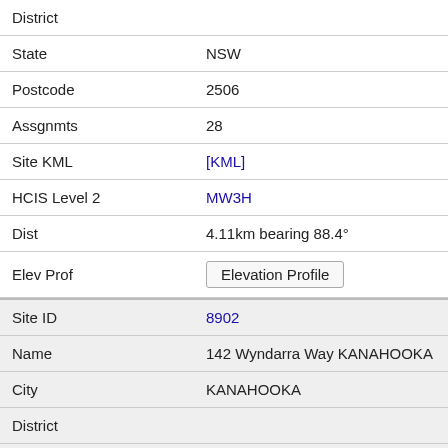| District |  |
| State | NSW |
| Postcode | 2506 |
| Assgnmts | 28 |
| Site KML | [KML] |
| HCIS Level 2 | MW3H |
| Dist | 4.11km bearing 88.4° |
| Elev Prof | Elevation Profile |
| Site ID | 8902 |
| Name | 142 Wyndarra Way KANAHOOKA |
| City | KANAHOOKA |
| District |  |
| State | NSW |
| Postcode | 2530 |
| Assgnmts |  |
| Site KML | [KML] |
| HCIS Level 2 | MW3L |